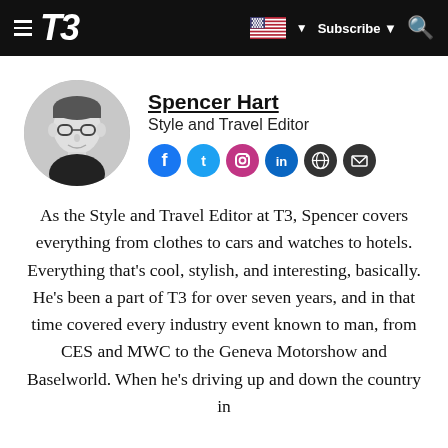T3 | Subscribe
Spencer Hart
Style and Travel Editor
[Figure (photo): Circular headshot photo of Spencer Hart, a man with glasses in a dark top, black and white image]
As the Style and Travel Editor at T3, Spencer covers everything from clothes to cars and watches to hotels. Everything that's cool, stylish, and interesting, basically. He's been a part of T3 for over seven years, and in that time covered every industry event known to man, from CES and MWC to the Geneva Motorshow and Baselworld. When he's driving up and down the country in